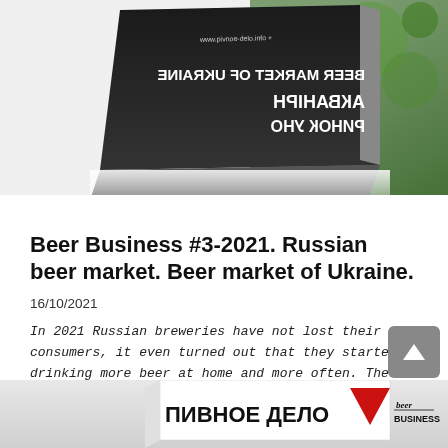[Figure (photo): Top portion of a book/magazine cover showing 'BEER MARKET OF UKRAINE' text (mirrored/reflected) with Ukrainian text, on a dark background with green bokeh]
Beer Business #3-2021. Russian beer market. Beer market of Ukraine.
16/10/2021
In 2021 Russian breweries have not lost their consumers, it even turned out that they started drinking more beer at home and more often. The market has held the high bar of the previous season, yet now it is growing by value and polarizing by price segments. The competition in the market has been determined [...]...
[Figure (photo): Bottom portion showing magazine/book branded 'ПИВНОЕ ДЕЛО' with 'beer BUSINESS' logo and a red triangle element]